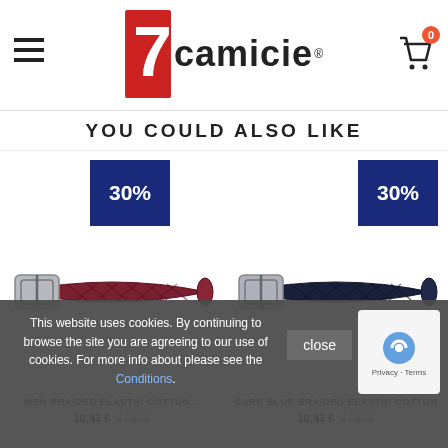[Figure (logo): 7camicie brand logo with red 7 graphic and hamburger menu icon]
YOU COULD ALSO LIKE
[Figure (photo): Men Braided Elastic Cotton belt in dark red/burgundy color with silver buckle, shown with 30% discount badge]
[Figure (photo): Dark Blue Braided Elastic Cotton belt in navy color with silver buckle, shown with 30% discount badge]
MEN BRAIDED ELASTIC COTTON...
DARK BLUE BRAIDED ELASTIC COTTON
10,43 € 14,90 €
10,43 € 14,90 €
This website uses cookies. By continuing to browse the site you are agreeing to our use of cookies. For more info about please see the Conditions.